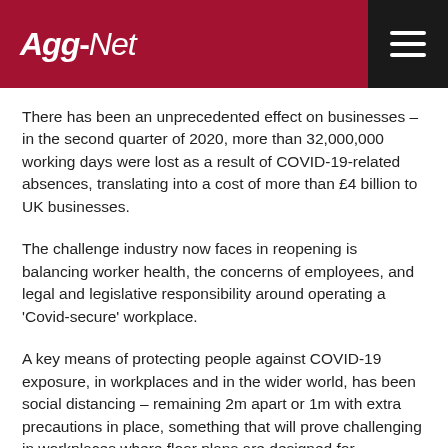Agg-Net
There has been an unprecedented effect on businesses – in the second quarter of 2020, more than 32,000,000 working days were lost as a result of COVID-19-related absences, translating into a cost of more than £4 billion to UK businesses.
The challenge industry now faces in reopening is balancing worker health, the concerns of employees, and legal and legislative responsibility around operating a 'Covid-secure' workplace.
A key means of protecting people against COVID-19 exposure, in workplaces and in the wider world, has been social distancing – remaining 2m apart or 1m with extra precautions in place, something that will prove challenging in workplaces where floor plans are designed for efficiency, not to keep workers as distanced as